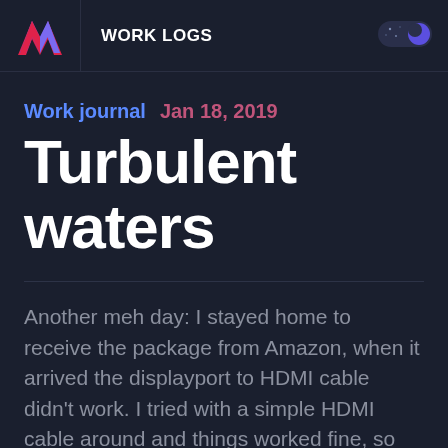WORK LOGS
Work journal  Jan 18, 2019
Turbulent waters
Another meh day: I stayed home to receive the package from Amazon, when it arrived the displayport to HDMI cable didn't work. I tried with a simple HDMI cable around and things worked fine, so